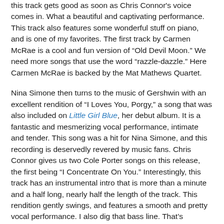this track gets good as soon as Chris Connor's voice comes in. What a beautiful and captivating performance. This track also features some wonderful stuff on piano, and is one of my favorites. The first track by Carmen McRae is a cool and fun version of “Old Devil Moon.” We need more songs that use the word “razzle-dazzle.” Here Carmen McRae is backed by the Mat Mathews Quartet.
Nina Simone then turns to the music of Gershwin with an excellent rendition of “I Loves You, Porgy,” a song that was also included on Little Girl Blue, her debut album. It is a fantastic and mesmerizing vocal performance, intimate and tender. This song was a hit for Nina Simone, and this recording is deservedly revered by music fans. Chris Connor gives us two Cole Porter songs on this release, the first being “I Concentrate On You.” Interestingly, this track has an instrumental intro that is more than a minute and a half long, nearly half the length of the track. This rendition gently swings, and features a smooth and pretty vocal performance. I also dig that bass line. That’s followed by “You Made Me Care” by Carmen McRae, backed by Tony Scott Quartet. I love that work on clarinet. This song and “Old Devil Moon” were included on her 1955 self-titled LP